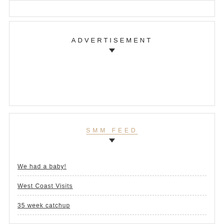ADVERTISEMENT
SMM FEED
We had a baby!
West Coast Visits
35 week catchup